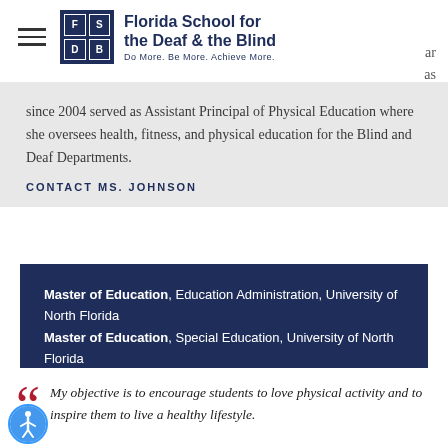[Figure (logo): Florida School for the Deaf & the Blind logo with FSDB grid and tagline]
since 2004 served as Assistant Principal of Physical Education where she oversees health, fitness, and physical education for the Blind and Deaf Departments.
CONTACT MS. JOHNSON
Master of Education, Education Administration, University of North Florida Master of Education, Special Education, University of North Florida Bachelor of Science, Education, University of Alabama
My objective is to encourage students to love physical activity and to inspire them to live a healthy lifestyle.